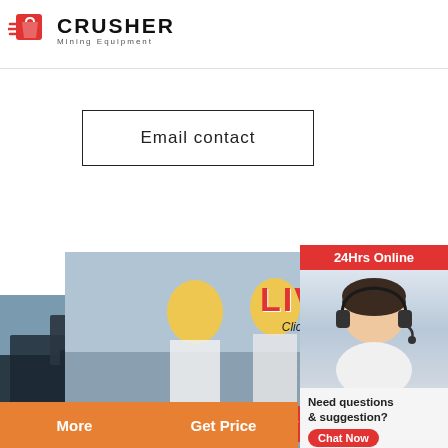[Figure (logo): Crusher Mining Equipment logo with red shopping bag icon and bold CRUSHER text]
Email contact
[Figure (screenshot): Live chat popup overlay with workers in hard hats, LIVE CHAT text in red, Chat now and Chat later buttons]
[Figure (infographic): Right sidebar: 24Hrs Online header, customer service person with headset, Need questions & suggestion, Chat Now, Enquiry, limingjlmofen@sina.com]
[Figure (photo): More and Get Price orange buttons at bottom left, Email contact input box at bottom right]